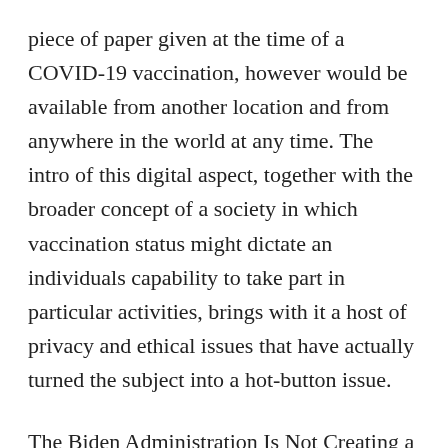piece of paper given at the time of a COVID-19 vaccination, however would be available from another location and from anywhere in the world at any time. The intro of this digital aspect, together with the broader concept of a society in which vaccination status might dictate an individuals capability to take part in particular activities, brings with it a host of privacy and ethical issues that have actually turned the subject into a hot-button issue.
The Biden Administration Is Not Creating a COVID-19 Passport
This is going to strike all parts of society, and so naturally, the federal government is involved … But